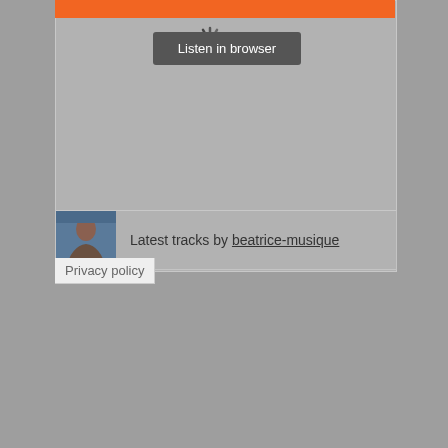[Figure (screenshot): SoundCloud widget embed showing orange header bar, a spinning/loading icon, a dark grey 'Listen in browser' button, an artist thumbnail photo, 'Latest tracks by beatrice-musique' text, and a 'Privacy policy' button. The widget is overlaid on a grey textured background.]
Listen in browser
Latest tracks by beatrice-musique
Privacy policy